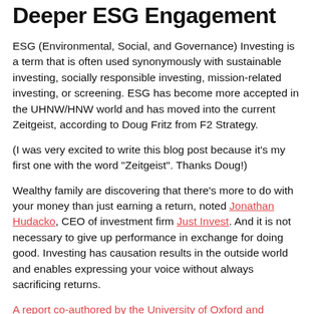Deeper ESG Engagement
ESG (Environmental, Social, and Governance) Investing is a term that is often used synonymously with sustainable investing, socially responsible investing, mission-related investing, or screening.  ESG has become more accepted in the UHNW/HNW world and has moved into the current Zeitgeist, according to Doug Fritz from F2 Strategy.
(I was very excited to write this blog post because it’s my first one with the word “Zeitgeist”. Thanks Doug!)
Wealthy family are discovering that there’s more to do with your money than just earning a return, noted Jonathan Hudacko, CEO of investment firm Just Invest. And it is not necessary to give up performance in exchange for doing good.  Investing has causation results in the outside world and enables expressing your voice without always sacrificing returns.
A report co-authored by the University of Oxford and